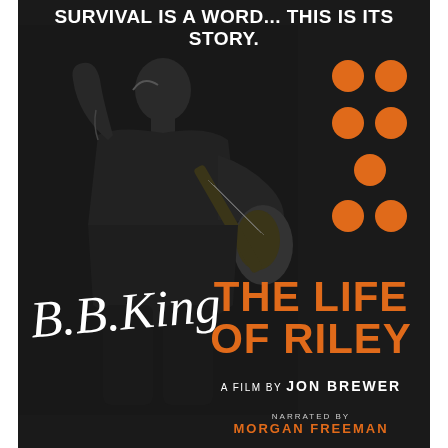SURVIVAL IS A WORD... THIS IS ITS STORY.
[Figure (photo): Black and white photo of B.B. King playing guitar on stage, with orange decorative dots in the upper right, and his cursive signature overlaid in white]
THE LIFE OF RILEY
A FILM BY JON BREWER
NARRATED BY MORGAN FREEMAN